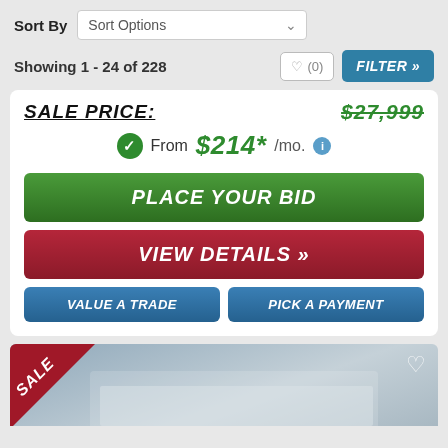Sort By
Sort Options
Showing 1 - 24 of 228
(0)
FILTER »
SALE PRICE:
$27,999
From $214* /mo.
PLACE YOUR BID
VIEW DETAILS »
VALUE A TRADE
PICK A PAYMENT
[Figure (photo): RV/trailer listing image with SALE badge in top-left corner and heart icon in top-right corner]